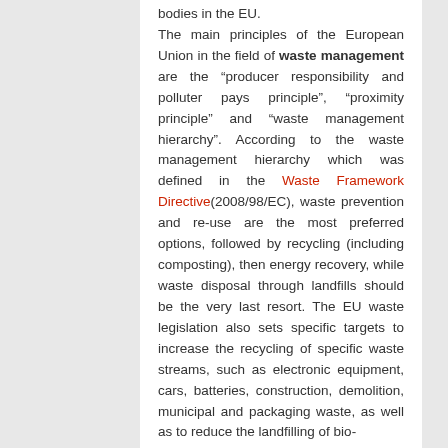bodies in the EU. The main principles of the European Union in the field of waste management are the “producer responsibility and polluter pays principle”, “proximity principle” and “waste management hierarchy”. According to the waste management hierarchy which was defined in the Waste Framework Directive(2008/98/EC), waste prevention and re-use are the most preferred options, followed by recycling (including composting), then energy recovery, while waste disposal through landfills should be the very last resort. The EU waste legislation also sets specific targets to increase the recycling of specific waste streams, such as electronic equipment, cars, batteries, construction, demolition, municipal and packaging waste, as well as to reduce the landfilling of bio-